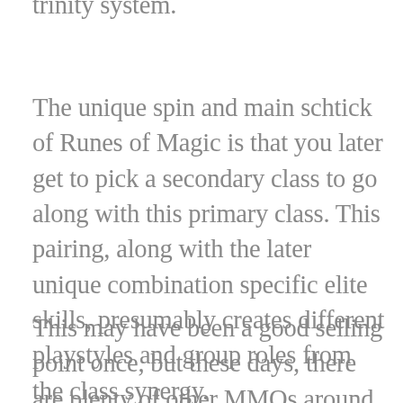trinity system.
The unique spin and main schtick of Runes of Magic is that you later get to pick a secondary class to go along with this primary class. This pairing, along with the later unique combination specific elite skills, presumably creates different playstyles and group roles from the class synergy.
This may have been a good selling point once, but these days, there are plenty of other MMOs around with some form of dual-classes or multi-classing; RIFT, GW1